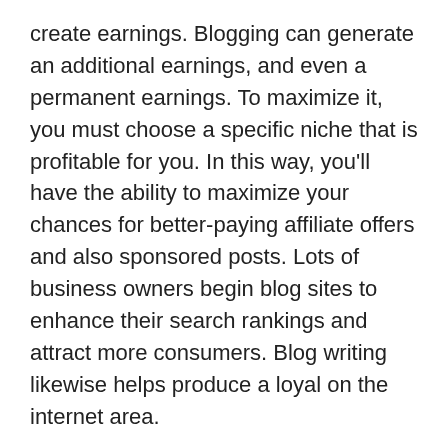create earnings. Blogging can generate an additional earnings, and even a permanent earnings. To maximize it, you must choose a specific niche that is profitable for you. In this way, you'll have the ability to maximize your chances for better-paying affiliate offers and also sponsored posts. Lots of business owners begin blog sites to enhance their search rankings and attract more consumers. Blog writing likewise helps produce a loyal on the internet area.
For businesses, it can raise their search engine optimization performance, and also can develop an alternate source of income. When your target market has an interest in your product or services, a blog can be an effective means to develop count on. Moreover, it is simple to develop a target market by